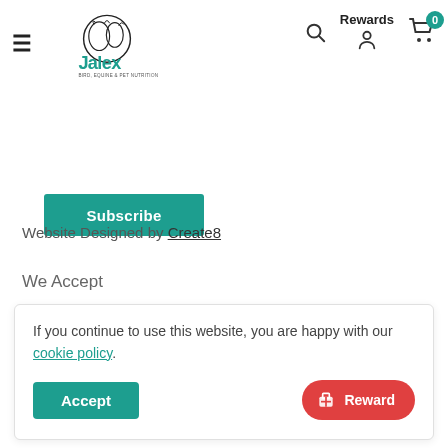[Figure (logo): Jalex Bird, Equine & Pet Nutrition logo with animal silhouettes]
Rewards
Subscribe
GBP £
Website Designed by Create8
We Accept
If you continue to use this website, you are happy with our cookie policy.
Accept
Reward